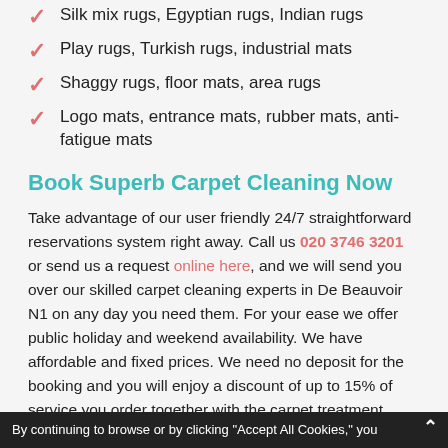Silk mix rugs, Egyptian rugs, Indian rugs
Play rugs, Turkish rugs, industrial mats
Shaggy rugs, floor mats, area rugs
Logo mats, entrance mats, rubber mats, anti-fatigue mats
Book Superb Carpet Cleaning Now
Take advantage of our user friendly 24/7 straightforward reservations system right away. Call us 020 3746 3201 or send us a request online here, and we will send you over our skilled carpet cleaning experts in De Beauvoir N1 on any day you need them. For your ease we offer public holiday and weekend availability. We have affordable and fixed prices. We need no deposit for the booking and you will enjoy a discount of up to 15% of service you order together with the carpet treatment. Landlords, estate agencies, regular customers and who book our cleaning
By continuing to browse or by clicking "Accept All Cookies," you